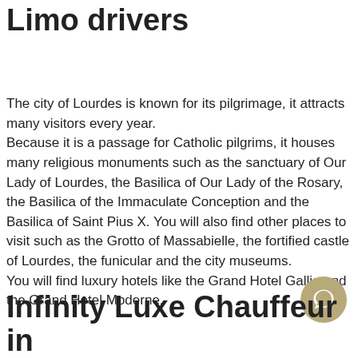Explore Lourdes with our Limo drivers
The city of Lourdes is known for its pilgrimage, it attracts many visitors every year.
Because it is a passage for Catholic pilgrims, it houses many religious monuments such as the sanctuary of Our Lady of Lourdes, the Basilica of Our Lady of the Rosary, the Basilica of the Immaculate Conception and the Basilica of Saint Pius X. You will also find other places to visit such as the Grotto of Massabielle, the fortified castle of Lourdes, the funicular and the city museums.
You will find luxury hotels like the Grand Hotel Gallia and the Grand Hotel Moderne.
Infinity Luxe Chauffeur in